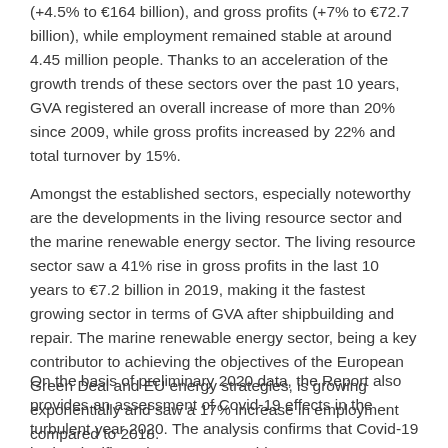(+4.5% to €164 billion), and gross profits (+7% to €72.7 billion), while employment remained stable at around 4.45 million people. Thanks to an acceleration of the growth trends of these sectors over the past 10 years, GVA registered an overall increase of more than 20% since 2009, while gross profits increased by 22% and total turnover by 15%.
Amongst the established sectors, especially noteworthy are the developments in the living resource sector and the marine renewable energy sector. The living resource sector saw a 41% rise in gross profits in the last 10 years to €7.2 billion in 2019, making it the fastest growing sector in terms of GVA after shipbuilding and repair. The marine renewable energy sector, being a key contributor to achieving the objectives of the European Green Deal and EU energy strategies, is growing exponentially and saw a 17% increase in employment compared to 2018.
On the basis of preliminary 2020 data, the Report also provides an assessment of Covid-19 effects in the turbulent year 2020. The analysis confirms that Covid-19 had a significant impact on most blue economy sectors. This